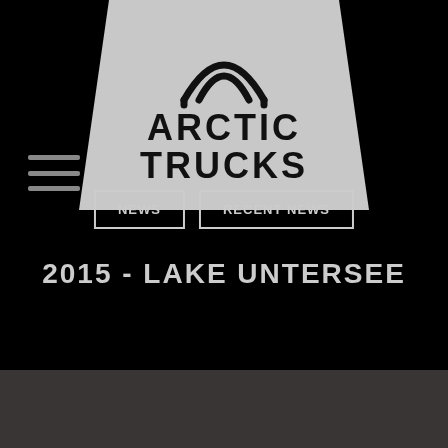[Figure (logo): Arctic Trucks logo: trapezoid shape in silver/grey with an arch/triangle symbol above the text ARCTIC TRUCKS in bold black letters]
≡ (hamburger menu icon)
NEWS
RECENT NEWS
2015 - LAKE UNTERSEE